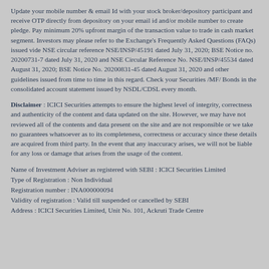Update your mobile number & email Id with your stock broker/depository participant and receive OTP directly from depository on your email id and/or mobile number to create pledge. Pay minimum 20% upfront margin of the transaction value to trade in cash market segment. Investors may please refer to the Exchange's Frequently Asked Questions (FAQs) issued vide NSE circular reference NSE/INSP/45191 dated July 31, 2020; BSE Notice no. 20200731-7 dated July 31, 2020 and NSE Circular Reference No. NSE/INSP/45534 dated August 31, 2020; BSE Notice No. 20200831-45 dated August 31, 2020 and other guidelines issued from time to time in this regard. Check your Securities /MF/ Bonds in the consolidated account statement issued by NSDL/CDSL every month.
Disclaimer : ICICI Securities attempts to ensure the highest level of integrity, correctness and authenticity of the content and data updated on the site. However, we may have not reviewed all of the contents and data present on the site and are not responsible or we take no guarantees whatsoever as to its completeness, correctness or accuracy since these details are acquired from third party. In the event that any inaccuracy arises, we will not be liable for any loss or damage that arises from the usage of the content.
Name of Investment Adviser as registered with SEBI : ICICI Securities Limited
Type of Registration : Non Individual
Registration number : INA000000094
Validity of registration : Valid till suspended or cancelled by SEBI
Address : ICICI Securities Limited, Unit No. 101, Ackruti Trade Centre